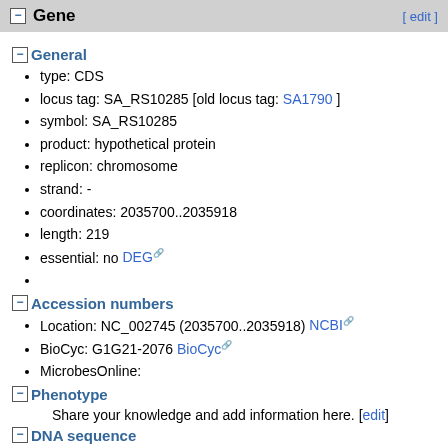Gene [edit]
General
type: CDS
locus tag: SA_RS10285 [old locus tag: SA1790 ]
symbol: SA_RS10285
product: hypothetical protein
replicon: chromosome
strand: -
coordinates: 2035700..2035918
length: 219
essential: no DEG
Accession numbers
Location: NC_002745 (2035700..2035918) NCBI
BioCyc: G1G21-2076 BioCyc
MicrobesOnline:
Phenotype
Share your knowledge and add information here. [edit]
DNA sequence
1